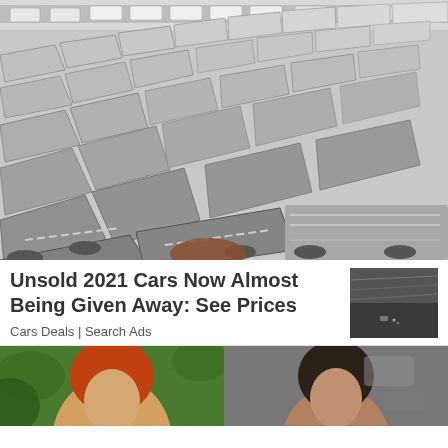[Figure (photo): Aerial view of a large car lot filled with rows of unsold vehicles, mostly white and grey SUVs, packed closely together in diagonal rows.]
Unsold 2021 Cars Now Almost Being Given Away: See Prices
Cars Deals | Search Ads
[Figure (photo): Small thumbnail image of another car advertisement, showing a dark background with blurry car lot imagery.]
[Figure (photo): Bottom left partial image showing a person with orange/red-tinted hair, green background.]
[Figure (photo): Bottom right partial image showing a person with dark hair against a blurry background.]